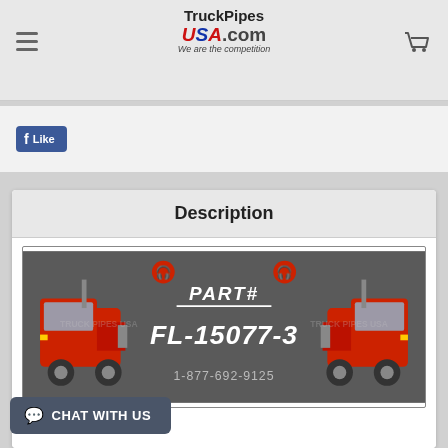TruckPipesUSA.com — We are the competition
[Figure (logo): TruckPipesUSA.com logo with tagline 'We are the competition']
Like
Description
[Figure (infographic): TruckPipesUSA product banner showing two red semi-trucks on a grey background with text PART# FL-15077-3 and phone number 1-877-692-9125]